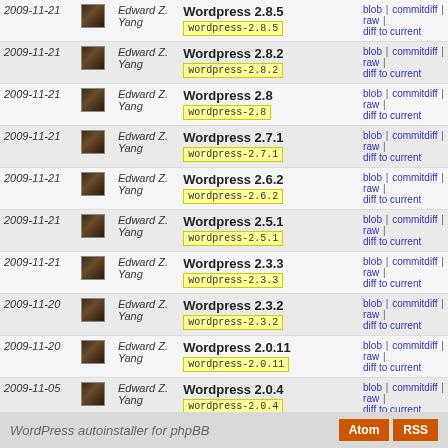| Date | Author | Commit | Links |
| --- | --- | --- | --- |
| 2009-11-21 | Edward Z. Yang | Wordpress 2.8.5 / wordpress-2.8.5 | blob | commitdiff | raw | diff to current |
| 2009-11-21 | Edward Z. Yang | Wordpress 2.8.2 / wordpress-2.8.2 | blob | commitdiff | raw | diff to current |
| 2009-11-21 | Edward Z. Yang | Wordpress 2.8 / wordpress-2.8 | blob | commitdiff | raw | diff to current |
| 2009-11-21 | Edward Z. Yang | Wordpress 2.7.1 / wordpress-2.7.1 | blob | commitdiff | raw | diff to current |
| 2009-11-21 | Edward Z. Yang | Wordpress 2.6.2 / wordpress-2.6.2 | blob | commitdiff | raw | diff to current |
| 2009-11-21 | Edward Z. Yang | Wordpress 2.5.1 / wordpress-2.5.1 | blob | commitdiff | raw | diff to current |
| 2009-11-21 | Edward Z. Yang | Wordpress 2.3.3 / wordpress-2.3.3 | blob | commitdiff | raw | diff to current |
| 2009-11-20 | Edward Z. Yang | Wordpress 2.3.2 / wordpress-2.3.2 | blob | commitdiff | raw | diff to current |
| 2009-11-20 | Edward Z. Yang | Wordpress 2.0.11 / wordpress-2.0.11 | blob | commitdiff | raw | diff to current |
| 2009-11-05 | Edward Z. Yang | Wordpress 2.0.4 / wordpress-2.0.4 | blob | commitdiff | raw | diff to current |
| 2009-11-02 | Edward Z. Yang | Wordpress 2.0.2 / wordpress-2.0.2 | blob | commitdiff | raw | diff to current |
WordPress autoinstaller for phpBB